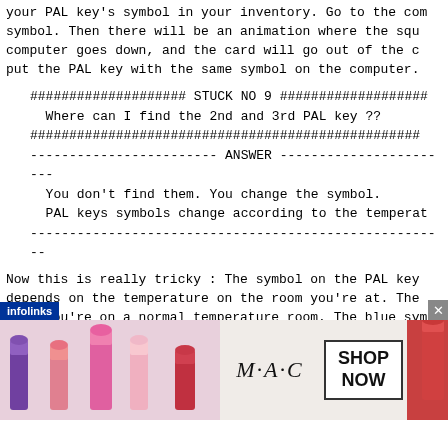your PAL key's symbol in your inventory. Go to the com symbol. Then there will be an animation where the squ computer goes down, and the card will go out of the c put the PAL key with the same symbol on the computer.
#################### STUCK NO 9 ####################
  Where can I find the 2nd and 3rd PAL key ??
##################################################
------------------------ ANSWER ------------------------
  You don't find them. You change the symbol.
  PAL keys symbols change according to the temperat
------------------------------------------------------------------------
Now this is really tricky : The symbol on the PAL key depends on the temperature on the room you're at. The when you're on a normal temperature room. The blue sym you're on a low temperature room - cold. The red symbo on a high temperature room.
I assume you have put the yellow card into the compute default colour). To change the card colour to blue, yo where the temperature is low, such as : the room where snow area outside. Stay there for about 2 min
[Figure (photo): M·A·C cosmetics advertisement banner showing lipsticks with SHOP NOW button]